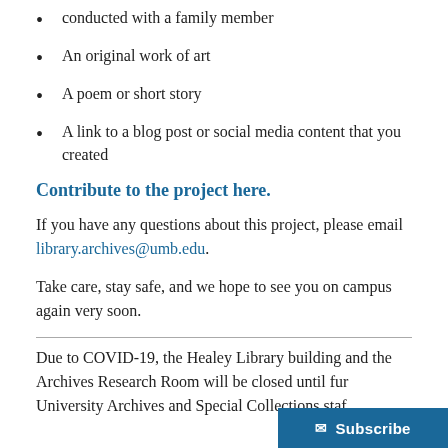conducted with a family member
An original work of art
A poem or short story
A link to a blog post or social media content that you created
Contribute to the project here.
If you have any questions about this project, please email library.archives@umb.edu.
Take care, stay safe, and we hope to see you on campus again very soon.
Due to COVID-19, the Healey Library building and the Archives Research Room will be closed until fur… University Archives and Special Collections staf…